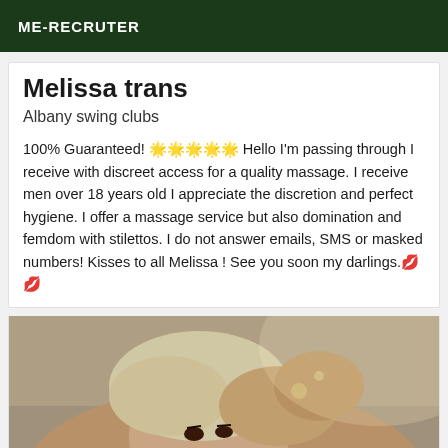ME-RECRUTER
Melissa trans
Albany swing clubs
100% Guaranteed! 🌟🌟🌟🌟🌟 Hello I'm passing through I receive with discreet access for a quality massage. I receive men over 18 years old I appreciate the discretion and perfect hygiene. I offer a massage service but also domination and femdom with stilettos. I do not answer emails, SMS or masked numbers! Kisses to all Melissa ! See you soon my darlings.💋💋
[Figure (photo): Photo of a blonde woman looking down, appearing to handle jewelry or accessories, wearing dark clothing]